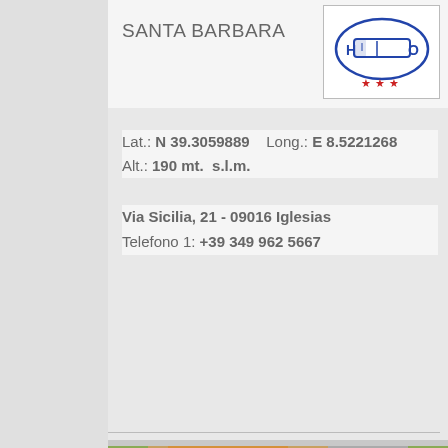SANTA BARBARA
[Figure (logo): Hotel three-star logo with stylized bed icon inside an oval, H and O letters, three red stars below]
Lat.: N 39.3059889    Long.: E 8.5221268
Alt.: 190 mt.  s.l.m.
Via Sicilia, 21 - 09016 Iglesias
Telefono 1: +39 349 962 5667
[Figure (photo): Photo showing a spread of food dishes including fried foods, small plates, and various items on a table]